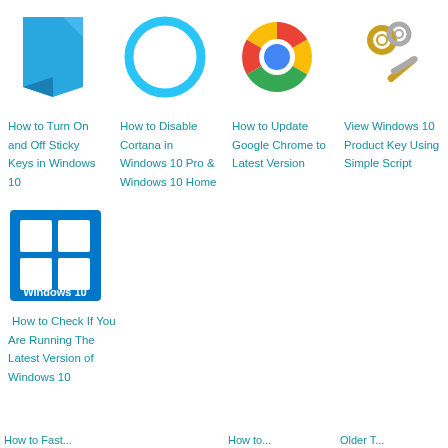[Figure (illustration): Blue sticky note icon]
How to Turn On and Off Sticky Keys in Windows 10
[Figure (illustration): Cortana circle icon (blue ring)]
How to Disable Cortana in Windows 10 Pro & Windows 10 Home
[Figure (illustration): Google Chrome logo icon]
How to Update Google Chrome to Latest Version
[Figure (illustration): Gold key and silver key icon]
View Windows 10 Product Key Using Simple Script
[Figure (illustration): Windows 10 logo blue tile with Windows flag icon]
How to Check If You Are Running The Latest Version of Windows 10